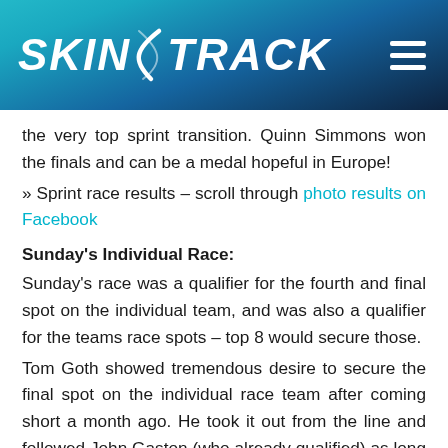SKINTRACK
the very top sprint transition. Quinn Simmons won the finals and can be a medal hopeful in Europe!
» Sprint race results – scroll through photo results on Facebook
Sunday's Individual Race:
Sunday's race was a qualifier for the fourth and final spot on the individual team, and was also a qualifier for the teams race spots – top 8 would secure those.
Tom Goth showed tremendous desire to secure the final spot on the individual race team after coming short a month ago. He took it out from the line and followed John Gaston (who already qualified) as long as he could to finish second in the race. John won once again and continues to dominate the North American skimo racing scene in big style. Third went to Max Taam who was trying hard to